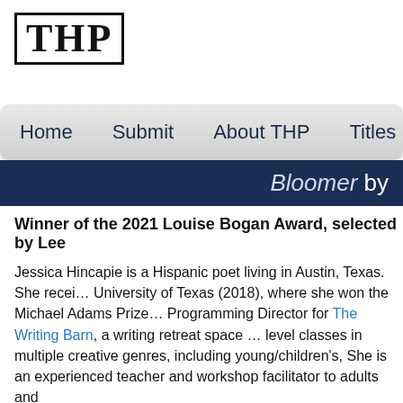[Figure (logo): THP logo: letters T, H, P in serif bold font inside a rectangular border]
Home  Submit  About THP  Titles  Cont…
Bloomer by…
Winner of the 2021 Louise Bogan Award, selected by Lee…
Jessica Hincapie is a Hispanic poet living in Austin, Texas. She received her MFA from the University of Texas (2018), where she won the Michael Adams Prize. She is currently the Programming Director for The Writing Barn, a writing retreat space that offers all-level classes in multiple creative genres, including young/children's, She is an experienced teacher and workshop facilitator to adults and…
Her debut poetry collection Bloomer won the Louise Bogan Award f…